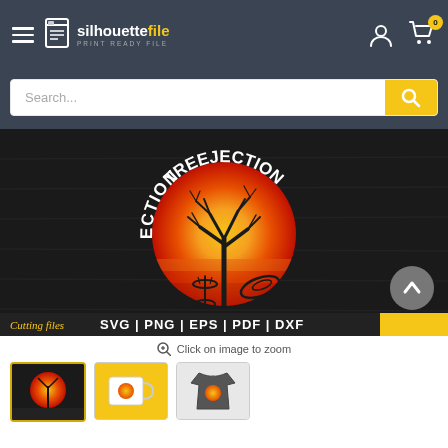silhouettefile - Print Ready File (website header with hamburger menu, logo, user icon, cart icon)
[Figure (screenshot): Search bar with placeholder text 'Search...' and yellow search button]
[Figure (illustration): Treejection disc golf SVG design on dark background: circular sunset gradient (yellow to red) with bare tree silhouette, disc golf basket, flying disc, and 'TREEJECTION' arched text. Bottom bar shows 'Cutting files SVG | PNG | EPS | PDF | DXF']
Click on image to zoom
[Figure (thumbnail): Three product thumbnail images at the bottom of the page showing the Treejection design on different products]